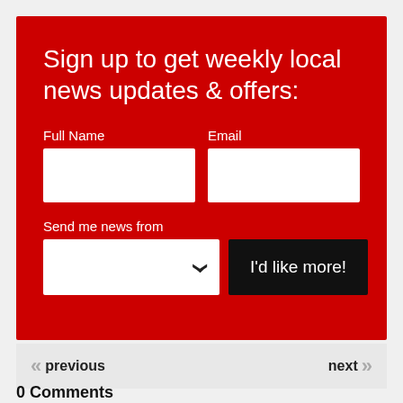Sign up to get weekly local news updates & offers:
Full Name
Email
Send me news from
I'd like more!
previous
next
0 Comments